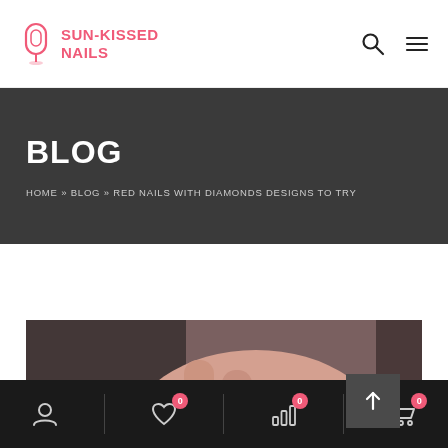SUN-KISSED NAILS
BLOG
HOME » BLOG » RED NAILS WITH DIAMONDS DESIGNS TO TRY
[Figure (photo): Close-up photo of a hand with rings showing diamond-studded bands on fingers, against a dark background]
Navigation bar with account, wishlist (0), analytics (0), and cart (0) icons